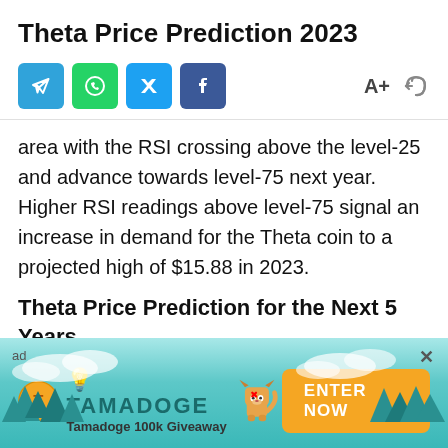Theta Price Prediction 2023
[Figure (other): Social sharing icons (Telegram, WhatsApp, Twitter, Facebook) and font size / link controls]
area with the RSI crossing above the level-25 and advance towards level-75 next year. Higher RSI readings above level-75 signal an increase in demand for the Theta coin to a projected high of $15.88 in 2023.
Theta Price Prediction for the Next 5 Years
Five years from now, the Theta use case as a video streaming platform would have been put to test and we believe that the project is here to stay, hence a profitable project that’s worthy [redacted] vestment. Although
[Figure (infographic): Tamadoge 100k Giveaway advertisement banner with Tamadoge logo, dog mascot, trees, clouds, and an ENTER NOW button]